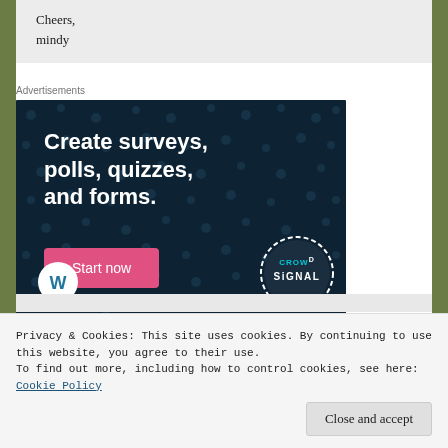Cheers,
mindy
Advertisements
[Figure (illustration): CrowdSignal advertisement banner with dark navy background and dot pattern. White bold text reads 'Create surveys, polls, quizzes, and forms.' with a pink 'Start now' button, WordPress logo bottom left, and CrowdSignal circular badge bottom right.]
Privacy & Cookies: This site uses cookies. By continuing to use this website, you agree to their use.
To find out more, including how to control cookies, see here: Cookie Policy
Close and accept